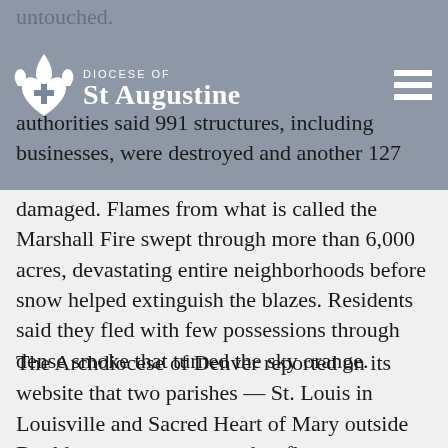untouched.
[Figure (logo): Diocese of St Augustine logo with cross and flame symbol, white text on gray/blue header bar, with hamburger menu icon on right]
authorities said 991 structures, including businesses, were destroyed and another 127 damaged. Flames from what is called the Marshall Fire swept through more than 6,000 acres, devastating entire neighborhoods before snow helped extinguish the blazes. Residents said they fled with few possessions through dense smoke that turned the sky orange.
The Archdiocese of Denver reported on its website that two parishes — St. Louis in Louisville and Sacred Heart of Mary outside Boulder — were evacuated as flames advanced, but were undamaged. The fire nearly reached Sacred Heart, seemingly blocked by a roadway.